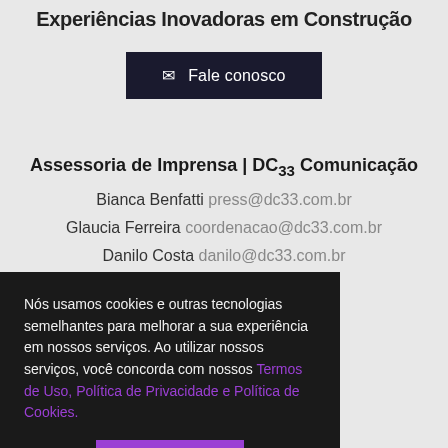Experiências Inovadoras em Construção
✉ Fale conosco
Assessoria de Imprensa | DC33 Comunicação
Bianca Benfatti press@dc33.com.br
Glaucia Ferreira coordenacao@dc33.com.br
Danilo Costa danilo@dc33.com.br
Nós usamos cookies e outras tecnologias semelhantes para melhorar a sua experiência em nossos serviços. Ao utilizar nossos serviços, você concorda com nossos Termos de Uso, Política de Privacidade e Política de Cookies.
Li e aceito